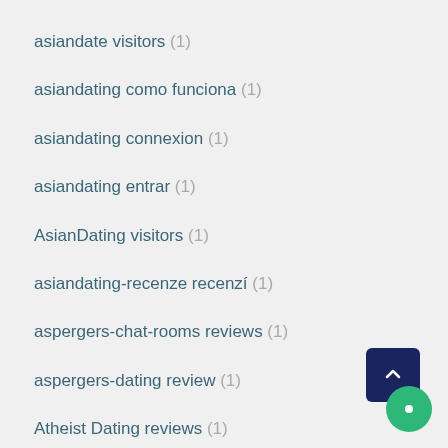asiandate visitors (1)
asiandating como funciona (1)
asiandating connexion (1)
asiandating entrar (1)
AsianDating visitors (1)
asiandating-recenze recenzí (1)
aspergers-chat-rooms reviews (1)
aspergers-dating review (1)
Atheist Dating reviews (1)
Atheist Dating service (1)